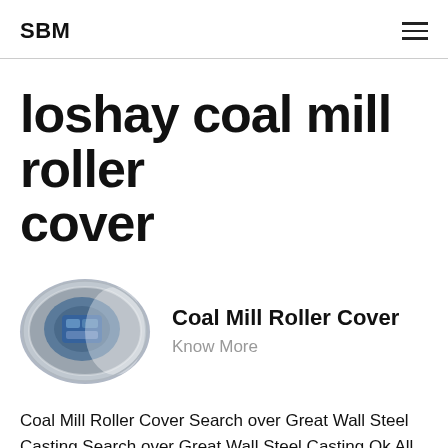SBM
loshay coal mill roller cover
[Figure (photo): Oval/elliptical photo of a coal mill roller cover component, showing a metal industrial part with blue elements]
Coal Mill Roller Cover
Know More
Coal Mill Roller Cover Search over Great Wall Steel Casting Search over Great Wall Steel Casting Ok All our websit Group websit , Applicable device coal mill parts Application Cement, electricity, metallurgy, chemical